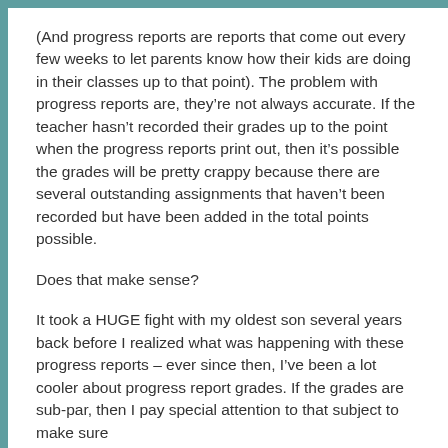(And progress reports are reports that come out every few weeks to let parents know how their kids are doing in their classes up to that point). The problem with progress reports are, they're not always accurate. If the teacher hasn't recorded their grades up to the point when the progress reports print out, then it's possible the grades will be pretty crappy because there are several outstanding assignments that haven't been recorded but have been added in the total points possible.
Does that make sense?
It took a HUGE fight with my oldest son several years back before I realized what was happening with these progress reports – ever since then, I've been a lot cooler about progress report grades. If the grades are sub-par, then I pay special attention to that subject to make sure the homework is being on top of that subject. Most times, it...